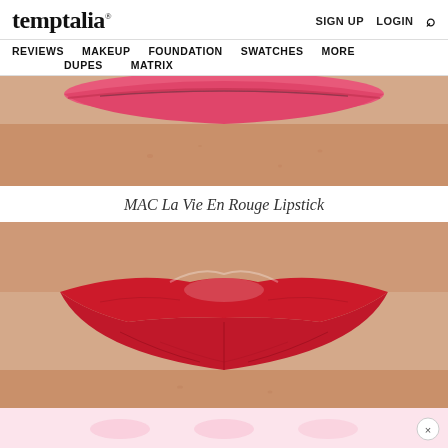temptalia® — SIGN UP  LOGIN  🔍
REVIEWS  MAKEUP  FOUNDATION  SWATCHES  MORE  DUPES  MATRIX
[Figure (photo): Close-up macro photo of lips with bright pink/coral lipstick applied, lower half of lips and chin visible, warm skin tone background]
MAC La Vie En Rouge Lipstick
[Figure (photo): Close-up macro photo of lips with vivid red lipstick (MAC La Vie En Rouge), showing upper lip area with slight highlight/shimmer at center, detailed skin texture visible]
[Figure (photo): Partial advertisement strip with light pink background and close button (×)]